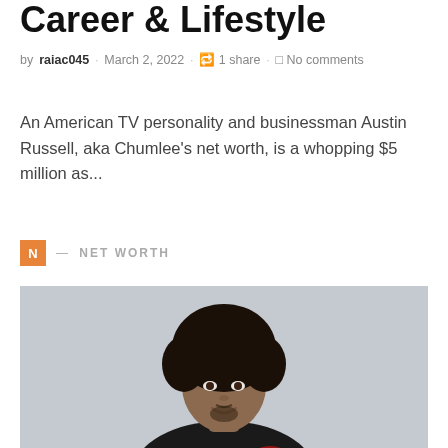Career & Lifestyle
by raiac045 · March 2, 2022 · 1 share · No comments
An American TV personality and businessman Austin Russell, aka Chumlee's net worth, is a whopping $5 million as...
N — NET WORTH
[Figure (photo): Portrait photo of a man with curly hair smiling, wearing a dark jacket]